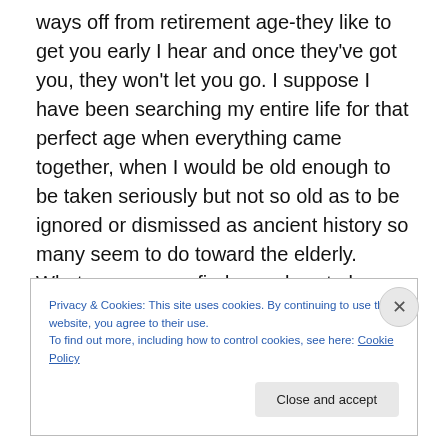ways off from retirement age-they like to get you early I hear and once they've got you, they won't let you go. I suppose I have been searching my entire life for that perfect age when everything came together, when I would be old enough to be taken seriously but not so old as to be ignored or dismissed as ancient history so many seem to do toward the elderly. Whatever age we find ourselves to be, we tend to think that the grass is greener at some other point in time, whether it is just ahead or, as is frequently the case, just behind us.
Privacy & Cookies: This site uses cookies. By continuing to use this website, you agree to their use.
To find out more, including how to control cookies, see here: Cookie Policy